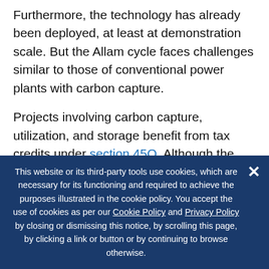Furthermore, the technology has already been deployed, at least at demonstration scale. But the Allam cycle faces challenges similar to those of conventional power plants with carbon capture.
Projects involving carbon capture, utilization, and storage benefit from tax credits under section 45Q. Although the credits are available at different rates depending on whether the CO₂ is used or sequestered, the prevailing approach so far seeks to use the CO₂ in enhanced oil recovery (EOR). That opportunity will erode over time if goals for
This website or its third-party tools use cookies, which are necessary for its functioning and required to achieve the purposes illustrated in the cookie policy. You accept the use of cookies as per our Cookie Policy and Privacy Policy by closing or dismissing this notice, by scrolling this page, by clicking a link or button or by continuing to browse otherwise.